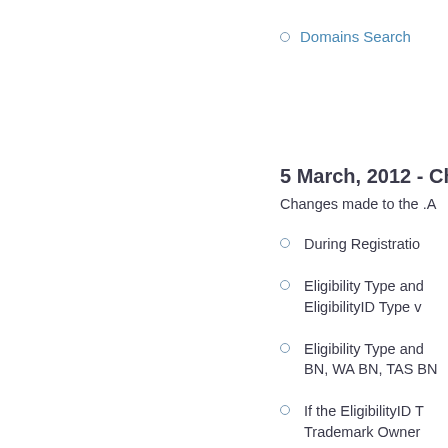Domains Search
5 March, 2012 - Cha
Changes made to the .A
During Registratio
Eligibility Type and EligibilityID Type v
Eligibility Type and BN, WA BN, TAS BN
If the EligibilityID T Trademark Owner